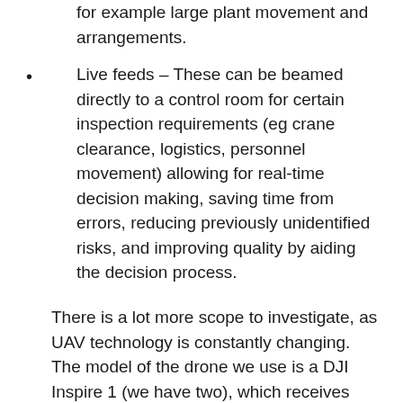for example large plant movement and arrangements.
Live feeds – These can be beamed directly to a control room for certain inspection requirements (eg crane clearance, logistics, personnel movement) allowing for real-time decision making, saving time from errors, reducing previously unidentified risks, and improving quality by aiding the decision process.
There is a lot more scope to investigate, as UAV technology is constantly changing. The model of the drone we use is a DJI Inspire 1 (we have two), which receives regular firmware updates to unlock new features, such as waypoint route flying, 3D